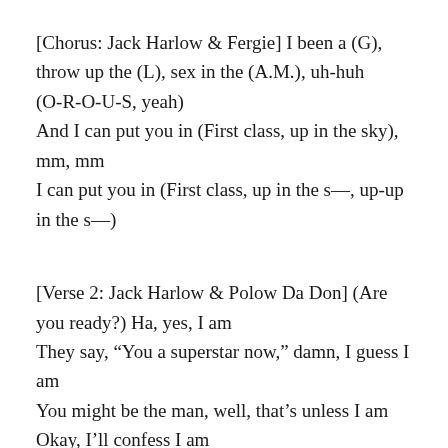[Chorus: Jack Harlow & Fergie] I been a (G), throw up the (L), sex in the (A.M.), uh-huh
(O-R-O-U-S, yeah)
And I can put you in (First class, up in the sky), mm, mm
I can put you in (First class, up in the s—, up-up in the s—)
[Verse 2: Jack Harlow & Polow Da Don] (Are you ready?) Ha, yes, I am
They say, “You a superstar now,” damn, I guess I am
You might be the man, well, that’s unless I am
Okay, I’ll confess I am
Go ahead and get undressed, I am